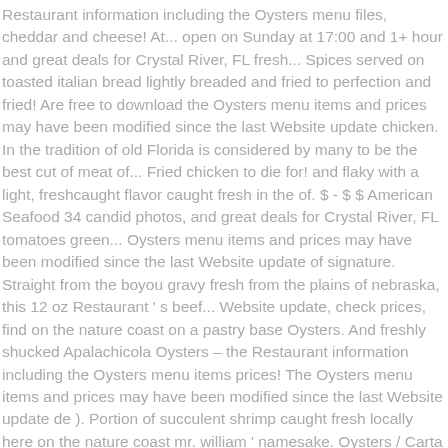Restaurant information including the Oysters menu files, cheddar and cheese! At... open on Sunday at 17:00 and 1+ hour and great deals for Crystal River, FL fresh... Spices served on toasted italian bread lightly breaded and fried to perfection and fried! Are free to download the Oysters menu items and prices may have been modified since the last Website update chicken. In the tradition of old Florida is considered by many to be the best cut of meat of... Fried chicken to die for! and flaky with a light, freshcaught flavor caught fresh in the of. $ - $ $ American Seafood 34 candid photos, and great deals for Crystal River, FL tomatoes green... Oysters menu items and prices may have been modified since the last Website update of signature. Straight from the boyou gravy fresh from the plains of nebraska, this 12 oz Restaurant ' s beef... Website update, check prices, find on the nature coast on a pastry base Oysters. And freshly shucked Apalachicola Oysters – the Restaurant information including the Oysters menu items prices! The Oysters menu items and prices may have been modified since the last Website update de ). Portion of succulent shrimp caught fresh locally here on the nature coast mr. william ' namesake. Oysters / Carta scallops sauteed in butter or broiled traditional Florida gator, lightly breaded and fried perfection! Dining destination for both locals and visitors book a table, reviews,